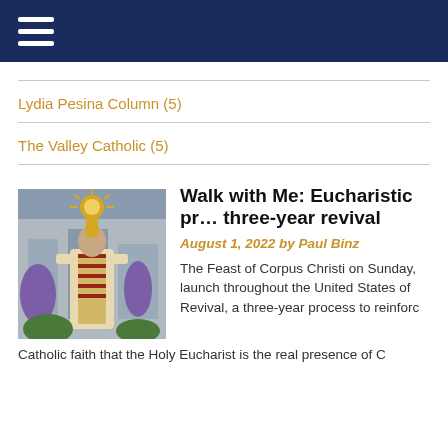≡ (navigation menu)
Lydia Pesina Column (5)
The Valley Catholic (5)
Walk with Me: Eucharistic pr... three-year revival
August 1, 2022 by Paul Binz
[Figure (photo): A priest in ornate vestments carrying a monstrance in a Eucharistic procession, with people in purple robes visible in the background.]
The Feast of Corpus Christi on Sunday, launch throughout the United States of Revival, a three-year process to reinforc Catholic faith that the Holy Eucharist is the real presence of C